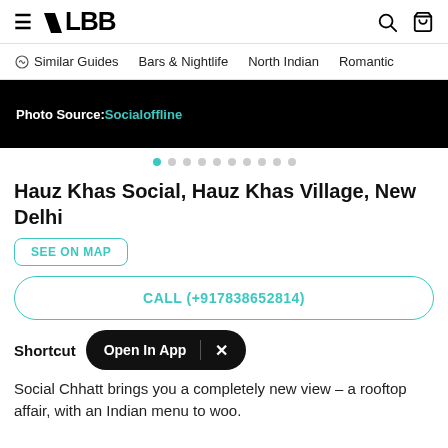LBB
Similar Guides   Bars & Nightlife   North Indian   Romantic
[Figure (photo): Black strip with photo source credit: Photo Source: Socialoffline]
● ○ ○ ○ ○ ○ ○ ○ ○ ○ (image carousel dots)
Hauz Khas Social, Hauz Khas Village, New Delhi
SEE ON MAP
CALL (+917838652814)
Shortcut
Open In App
Social Chhatt brings you a completely new view – a rooftop affair, with an Indian menu to woo.